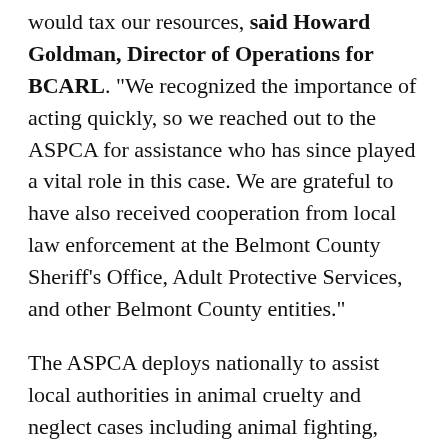would tax our resources, said Howard Goldman, Director of Operations for BCARL. "We recognized the importance of acting quickly, so we reached out to the ASPCA for assistance who has since played a vital role in this case. We are grateful to have also received cooperation from local law enforcement at the Belmont County Sheriff’s Office, Adult Protective Services, and other Belmont County entities."
The ASPCA deploys nationally to assist local authorities in animal cruelty and neglect cases including animal fighting, hoarding, and puppy mills. It also provides local communities with resources including grant funding and training to effectively assist animals during cruelty and disaster situations.